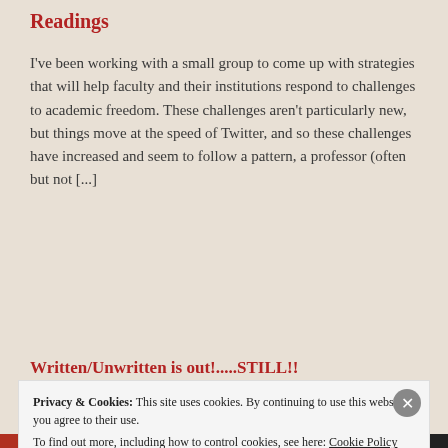Readings
I've been working with a small group to come up with strategies that will help faculty and their institutions respond to challenges to academic freedom.  These challenges aren't particularly new, but things move at the speed of Twitter, and so these challenges have increased and seem to follow a pattern, a professor (often but not [...]
Written/Unwritten is out!.....STILL!!
I...
Privacy & Cookies: This site uses cookies. By continuing to use this website, you agree to their use.
To find out more, including how to control cookies, see here: Cookie Policy